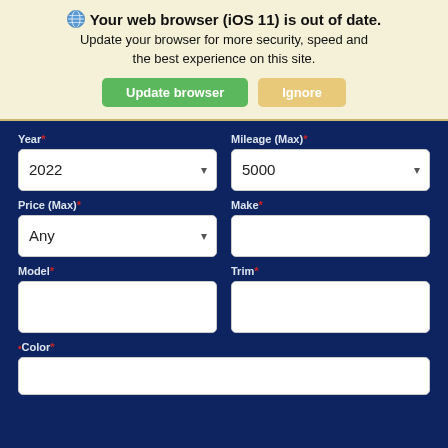🌐 Your web browser (iOS 11) is out of date. Update your browser for more security, speed and the best experience on this site.
Update browser | Ignore
Year*
2022
Mileage (Max)*
5000
Price (Max)*
Any
Make*
Model*
Trim*
Color*
Search  Contact  Glovebox